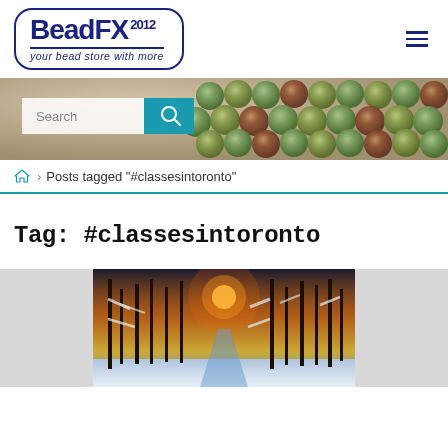BeadFX 2012 — your bead store with more
[Figure (photo): Banner photo of colorful green and orange round beads strung together, with a search bar overlay containing a text field labeled 'Search' and a teal search button with magnifying glass icon.]
🏠 > Posts tagged "#classesintoronto"
Tag: #classesintoronto
[Figure (photo): Winter forest scene with snow-covered trees and warm sunset light glowing through the branches along a path.]